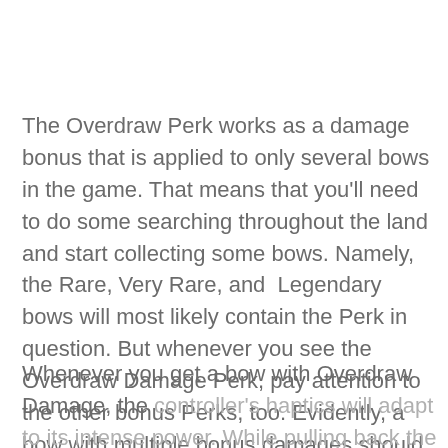The Overdraw Perk works as a damage bonus that is applied to only several bows in the game. That means that you'll need to do some searching throughout the land and start collecting some bows. Namely, the Rare, Very Rare, and Legendary bows will most likely contain the Perk in question. But whenever you see the Overdraw Damage Perk, pay attention to the other bonus Perks, too. Evidently, a bow with multiple bonus damages should be on your radar.
Whenever you get a bow with Overdraw Damage, the controller's haptics will adapt to its intense power. While pulling back the bow to initiate a shot, your